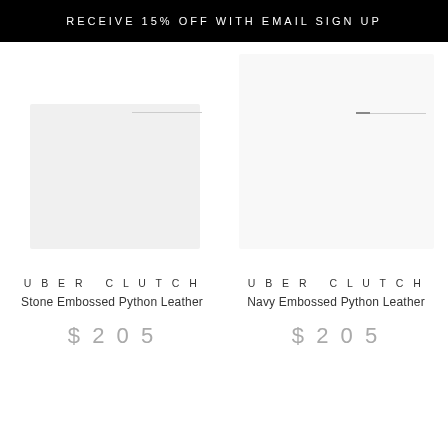RECEIVE 15% OFF WITH EMAIL SIGN UP
[Figure (photo): Product image placeholder for Stone Embossed Python Leather Uber Clutch — light gray square with carousel indicator line]
UBER CLUTCH
Stone Embossed Python Leather
$205
[Figure (photo): Product image placeholder for Navy Embossed Python Leather Uber Clutch — white square with dash carousel indicator]
UBER CLUTCH
Navy Embossed Python Leather
$205